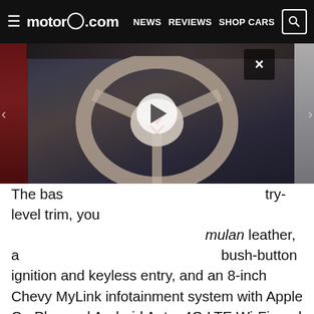≡  motor1.com  NEWS  REVIEWS  SHOP CARS  🔍
[Figure (photo): Corvette steering wheel interior photo with video play button overlay, shown in a media player interface with close (X) button]
The base entry-level trim, you mulan leather, a bush-button ignition and keyless entry, and an 8-inch Chevy MyLink infotainment system with Apple CarPlay and Android Auto, 4G LTE Wi-Fi, and 10-speaker Bose sound system. The Corvette 1LT trim is available in three color options: black, gray, or red.
Going up the 2LT trim gives you more interior color options plus features like a rearview camera mirror, a colored head-up display, heated/cooled seats, heated steering wheel, advanced blind-spot monitor, and rear